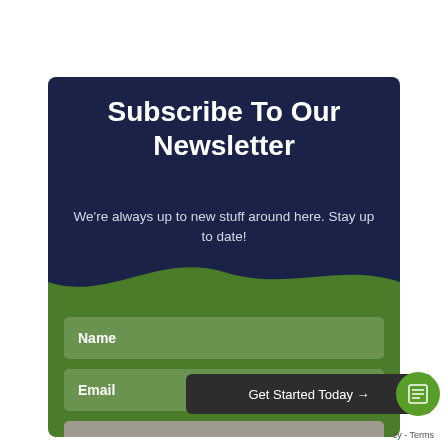Subscribe To Our Newsletter
We're always up to new stuff around here. Stay up to date!
Name
Email
SUBSCRIBE!
Get Started Today →
cy - Terms